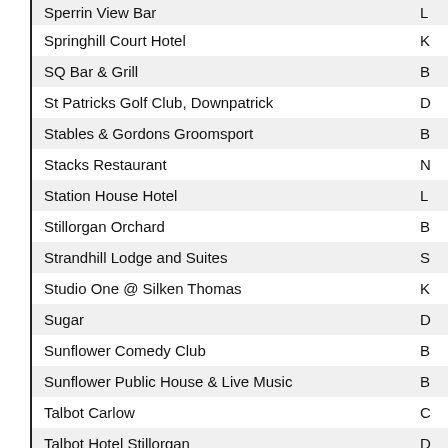| Venue | Location |
| --- | --- |
| Sperrin View Bar | L… |
| Springhill Court Hotel | K… |
| SQ Bar & Grill | B… |
| St Patricks Golf Club, Downpatrick | D… |
| Stables & Gordons Groomsport | B… |
| Stacks Restaurant | N… |
| Station House Hotel | L… |
| Stillorgan Orchard | B… |
| Strandhill Lodge and Suites | S… |
| Studio One @ Silken Thomas | K… |
| Sugar | D… |
| Sunflower Comedy Club | B… |
| Sunflower Public House & Live Music | B… |
| Talbot Carlow | C… |
| Talbot Hotel Stillorgan | D… |
| Talbot Suites at Stonebridge | W… |
| Talbot Wexford | W… |
| Tam O'Shanter | K… |
| Tankardstown House | C… |